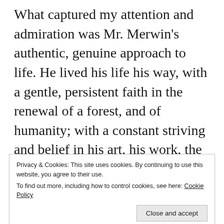What captured my attention and admiration was Mr. Merwin's authentic, genuine approach to life. He lived his life his way, with a gentle, persistent faith in the renewal of a forest, and of humanity; with a constant striving and belief in his art, his work, the natural world, even or especially when it was contrary to the mindset of the day. He modeled for us what happens when you find your
Privacy & Cookies: This site uses cookies. By continuing to use this website, you agree to their use.
To find out more, including how to control cookies, see here: Cookie Policy
your mind and your soul is to become